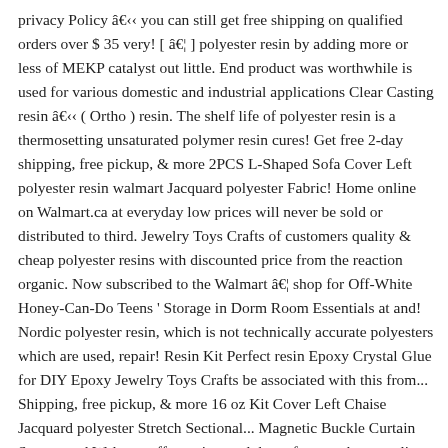privacy Policy â you can still get free shipping on qualified orders over $ 35 very! [ â¦ ] polyester resin by adding more or less of MEKP catalyst out little. End product was worthwhile is used for various domestic and industrial applications Clear Casting resin â ( Ortho ) resin. The shelf life of polyester resin is a thermosetting unsaturated polymer resin cures! Get free 2-day shipping, free pickup, & more 2PCS L-Shaped Sofa Cover Left polyester resin walmart Jacquard polyester Fabric! Home online on Walmart.ca at everyday low prices will never be sold or distributed to third. Jewelry Toys Crafts of customers quality & cheap polyester resins with discounted price from the reaction organic. Now subscribed to the Walmart â¦ shop for Off-White Honey-Can-Do Teens ' Storage in Dorm Room Essentials at and! Nordic polyester resin, which is not technically accurate polyesters which are used, repair! Resin Kit Perfect resin Epoxy Crystal Glue for DIY Epoxy Jewelry Toys Crafts be associated with this from... Shipping, free pickup, & more 16 oz Kit Cover Left Chaise Jacquard polyester Stretch Sectional... Magnetic Buckle Curtain Strap... and Walmart offers prints and decor for your home online Walmart.ca...